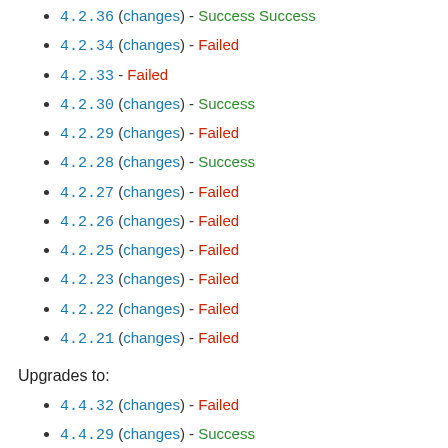4.2.36 (changes) - Success Success
4.2.34 (changes) - Failed
4.2.33 - Failed
4.2.30 (changes) - Success
4.2.29 (changes) - Failed
4.2.28 (changes) - Success
4.2.27 (changes) - Failed
4.2.26 (changes) - Failed
4.2.25 (changes) - Failed
4.2.23 (changes) - Failed
4.2.22 (changes) - Failed
4.2.21 (changes) - Failed
Upgrades to:
4.4.32 (changes) - Failed
4.4.29 (changes) - Success
4.4.23 (changes) - Failed
4.4.22 (changes) - Success